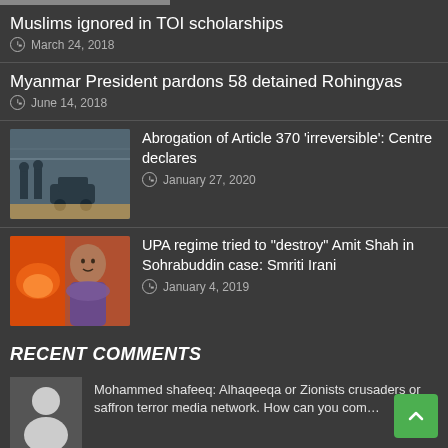Muslims ignored in TOI scholarships
March 24, 2018
Myanmar President pardons 58 detained Rohingyas
June 14, 2018
Abrogation of Article 370 'irreversible': Centre declares
January 27, 2020
UPA regime tried to "destroy" Amit Shah in Sohrabuddin case: Smriti Irani
January 4, 2019
RECENT COMMENTS
Mohammed shafeeq: Alhaqeeqa or Zionists crusaders or saffron terror media network. How can you com…
Khushboo Mirza: This is not True! remove the article at the earliest...